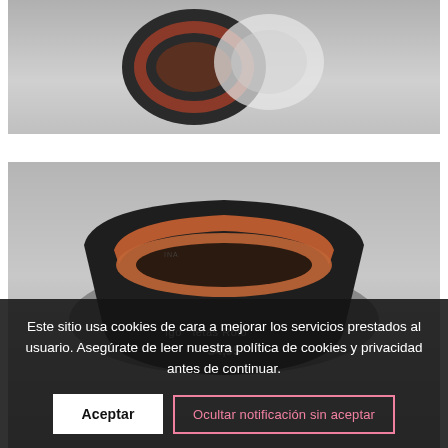[Figure (photo): Close-up photo of a mechanical bearing/seal with black outer ring and copper/brown inner ring on grey background, viewed from above]
[Figure (photo): Close-up photo of a circular mechanical seal/bearing ring, black with copper-orange inner rim, angled view on grey background. Product name partially visible: 'Igo... letas Rolo...' and price '34,95']
Este sitio usa cookies de cara a mejorar los servicios prestados al usuario. Asegúrate de leer nuestra política de cookies y privacidad antes de continuar.
Aceptar
Ocultar notificación sin aceptar